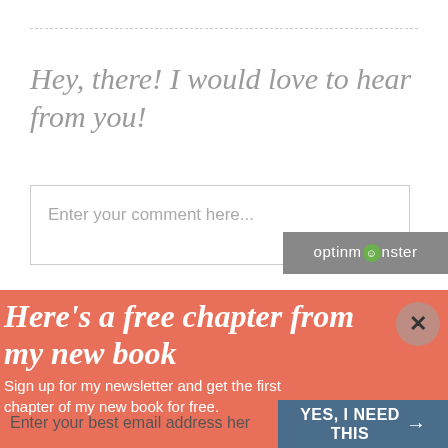Hey, there! I would love to hear from you!
Enter your comment here...
[Figure (screenshot): OptinMonster branding badge with logo]
Here's a free chapter from my new book
Sign up for my newsletter and get the first chapter of my new book for free.
Enter your best email address her
YES, I NEED THIS →